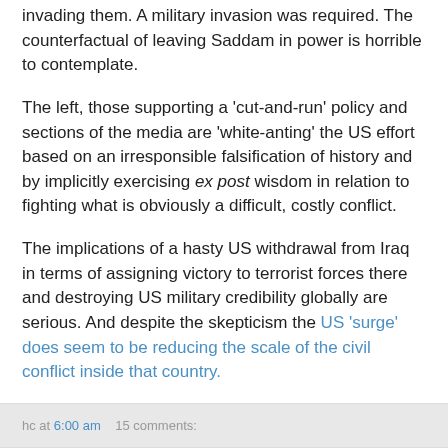invading them. A military invasion was required. The counterfactual of leaving Saddam in power is horrible to contemplate.
The left, those supporting a 'cut-and-run' policy and sections of the media are 'white-anting' the US effort based on an irresponsible falsification of history and by implicitly exercising ex post wisdom in relation to fighting what is obviously a difficult, costly conflict.
The implications of a hasty US withdrawal from Iraq in terms of assigning victory to terrorist forces there and destroying US military credibility globally are serious. And despite the skepticism the US 'surge' does seem to be reducing the scale of the civil conflict inside that country.
hc at 6:00 am   15 comments:
Friday, February 01, 2008
Keating on McGuinness